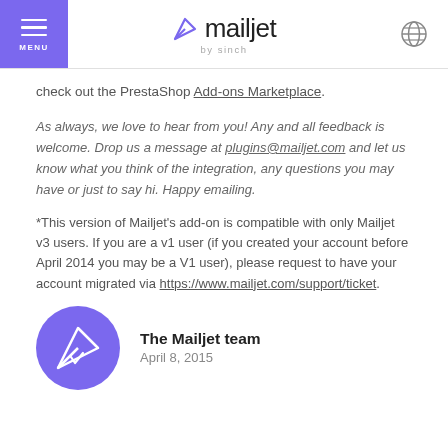MENU | mailjet by sinch | [globe icon]
check out the PrestaShop Add-ons Marketplace.
As always, we love to hear from you! Any and all feedback is welcome. Drop us a message at plugins@mailjet.com and let us know what you think of the integration, any questions you may have or just to say hi. Happy emailing.
*This version of Mailjet's add-on is compatible with only Mailjet v3 users. If you are a v1 user (if you created your account before April 2014 you may be a V1 user), please request to have your account migrated via https://www.mailjet.com/support/ticket.
[Figure (logo): Mailjet paper-plane logo in purple circle]
The Mailjet team
April 8, 2015